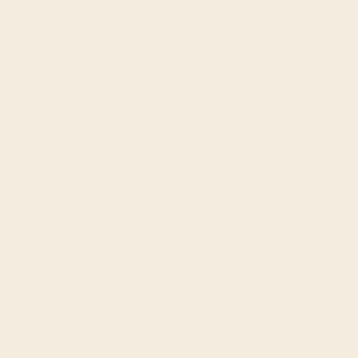transaction generates about 380g of e- computing hardware the used applicati in the Journal of Monetary Economics vulnerable to manipulation. The history 2017, there were 9,272 bitcoin wallets person can have more than one bitcoin charged by banks and Western Union
[Figure (other): Link icon followed by URL: https://www.beaxy.com/]
On 29 November 2013, the cost of one little more than half 2013 prices. In Jul webwallets offer similar functionality bu rather than on the user's hardware. As
The Iranian government initially took a circumvent sanctions. The software val reached more than 235 gigabytes in si Although the complete blockchain is no JSON-RPC interface, bitcoind, is bund main network using an alternative bloc